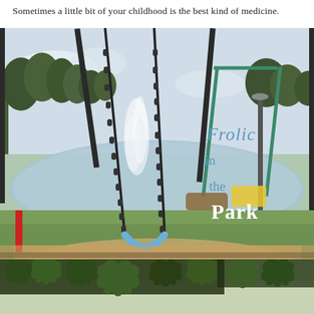Sometimes a little bit of your childhood is the best kind of medicine.
[Figure (photo): Photograph of a playground swing set with a blue rubber swing seat in the foreground, chains hanging from above. In the background is a fountain spraying water in a lake, green trees, a lamp post, and park playground equipment. Text overlay reads 'Frolic in the Park' in decorative script/serif font.]
[Figure (photo): Bottom strip photograph showing green oak leaves in close-up with blurred bright background sky. A small upward-pointing chevron arrow is visible in the lower right corner.]